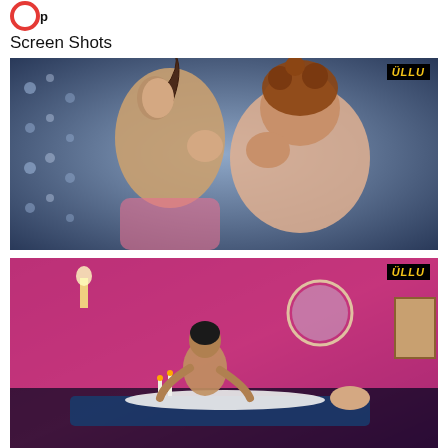[Figure (logo): Partial red circular logo at top left]
Screen Shots
[Figure (screenshot): ULLU app screenshot showing two women in an intimate scene with bokeh background lighting. ULLU watermark in top right corner.]
[Figure (screenshot): ULLU app screenshot showing a man giving a massage to a woman in a pink decorated room. ULLU watermark in top right corner.]